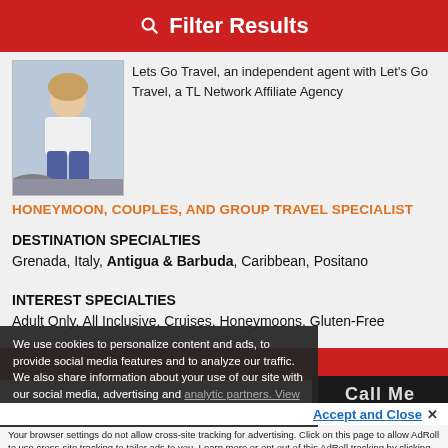Filter Results
[Figure (photo): Photo of a woman sitting on a beach in casual clothes]
Lets Go Travel, an independent agent with Let's Go Travel, a TL Network Affiliate Agency
HONEYMOON, COUPLES, AND GROUP TRAVEL SPECIALIST
DESTINATION SPECIALTIES
Grenada, Italy, Antigua & Barbuda, Caribbean, Positano
INTEREST SPECIALTIES
Adult Only, All Inclusive, Cruises, Honeymoons, Gluten-Free
We use cookies to personalize content and ads, to provide social media features and to analyze our traffic. We also share information about your use of our site with our social media, advertising and analytic partners. View more
Accept and Close ✕
Your browser settings do not allow cross-site tracking for advertising. Click on this page to allow AdRoll to use cross-site tracking to tailor ads to you. Learn more or opt out of this AdRoll tracking by clicking here. This message only appears once.